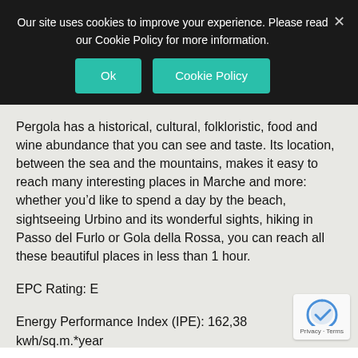Our site uses cookies to improve your experience. Please read our Cookie Policy for more information.
Pergola has a historical, cultural, folkloristic, food and wine abundance that you can see and taste. Its location, between the sea and the mountains, makes it easy to reach many interesting places in Marche and more: whether you'd like to spend a day by the beach, sightseeing Urbino and its wonderful sights, hiking in Passo del Furlo or Gola della Rossa, you can reach all these beautiful places in less than 1 hour.
EPC Rating: E
Energy Performance Index (IPE): 162,38 kwh/sq.m.*year
Why Buy It